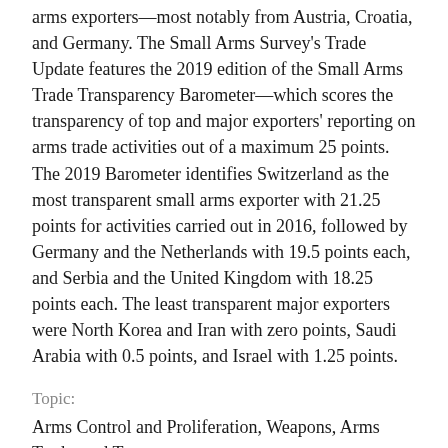arms exporters—most notably from Austria, Croatia, and Germany. The Small Arms Survey's Trade Update features the 2019 edition of the Small Arms Trade Transparency Barometer—which scores the transparency of top and major exporters' reporting on arms trade activities out of a maximum 25 points. The 2019 Barometer identifies Switzerland as the most transparent small arms exporter with 21.25 points for activities carried out in 2016, followed by Germany and the Netherlands with 19.5 points each, and Serbia and the United Kingdom with 18.25 points each. The least transparent major exporters were North Korea and Iran with zero points, Saudi Arabia with 0.5 points, and Israel with 1.25 points.
Topic:
Arms Control and Proliferation, Weapons, Arms Trade, and Transparency
Political Geography:
United Kingdom, Iran, Israel, North Korea, Germany, Saudi Arabia, Serbia, Croatia, Switzerland, Netherlands, Austria, and Southeast Asia